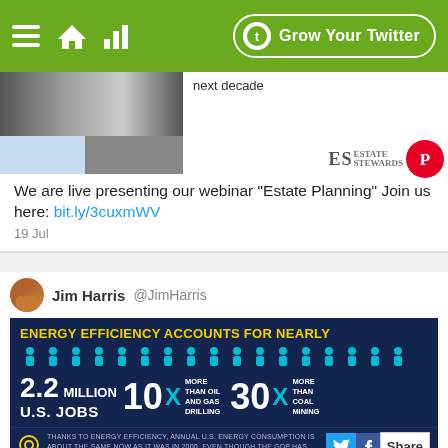[Figure (screenshot): Green navigation bar with hamburger menu, home icon, bar chart icon, and 'Grow Your Twitter' button with Tweepi logo]
[Figure (screenshot): Tweet preview image with photo and 'next decade' text, ES Stewards Pinterest logo]
We are live presenting our webinar "Estate Planning" Join us here: bit.ly/3cuxmWV
19 Jul
Jim Harris @JimHarris
[Figure (infographic): Energy Efficiency Accounts For Nearly 2.2 Million U.S. Jobs — 10X more than oil and gas drilling, 30X more than coal mining. Thanks to energy efficiency, annual U.S. energy consumption is about the same now as it was in 2000, even though the GDP has grown by 30 percent.]